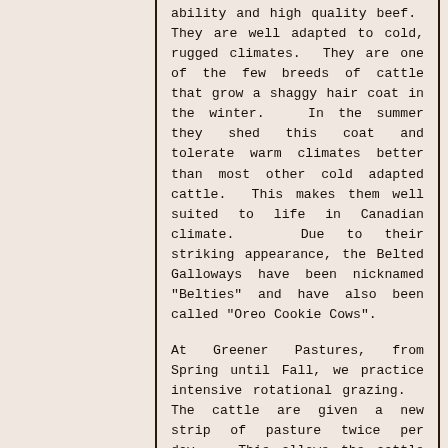ability and high quality beef. They are well adapted to cold, rugged climates. They are one of the few breeds of cattle that grow a shaggy hair coat in the winter. In the summer they shed this coat and tolerate warm climates better than most other cold adapted cattle. This makes them well suited to life in Canadian climate. Due to their striking appearance, the Belted Galloways have been nicknamed "Belties" and have also been called "Oreo Cookie Cows".
At Greener Pastures, from Spring until Fall, we practice intensive rotational grazing. The cattle are given a new strip of pasture twice per day. This allows the cattle to fully graze the smaller sections of pasture as well as act as natural manure spreaders in the process.